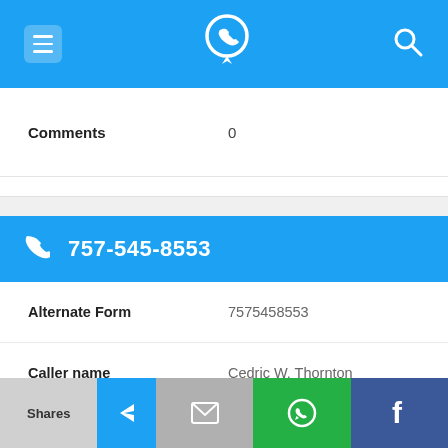App header bar with menu, phone locator logo, and search icon
Comments  0
757-545-8553
| Field | Value |
| --- | --- |
| Alternate Form | 7575458553 |
| Caller name | Cedric W. Thornton |
| Last User Search | No searches yet |
| Comments | 0 |
Shares | [blue] | [mail] | [whatsapp] | [facebook]